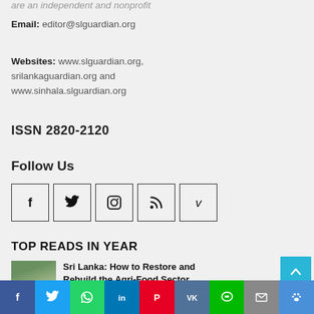are an independent and nonprofit
Email: editor@slguardian.org
Websites: www.slguardian.org, srilankaguardian.org and www.sinhala.slguardian.org
ISSN 2820-2120
Follow Us
[Figure (other): Row of 5 social media icon boxes: Facebook (f), Twitter (bird), Instagram (camera), RSS (feed symbol), Vimeo (V)]
TOP READS IN YEAR
Sri Lanka: How to Restore and Rebuild the Agri-Food Sector
[Figure (other): Bottom social sharing bar with icons: Facebook, Twitter, WhatsApp, LinkedIn, Pinterest, VK, LINE, Email, Paw]